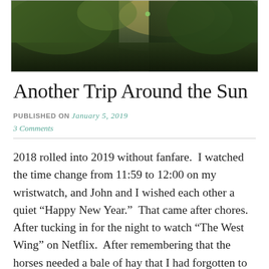[Figure (photo): Outdoor nature photograph showing trees and landscape with sunlight filtering through foliage, dark green tones]
Another Trip Around the Sun
PUBLISHED ON January 5, 2019
3 Comments
2018 rolled into 2019 without fanfare.  I watched the time change from 11:59 to 12:00 on my wristwatch, and John and I wished each other a quiet “Happy New Year.”  That came after chores.  After tucking in for the night to watch “The West Wing” on Netflix.  After remembering that the horses needed a bale of hay that I had forgotten to give to them.  John went back outside in pajamas to take care of it.  Two hours later, we rang